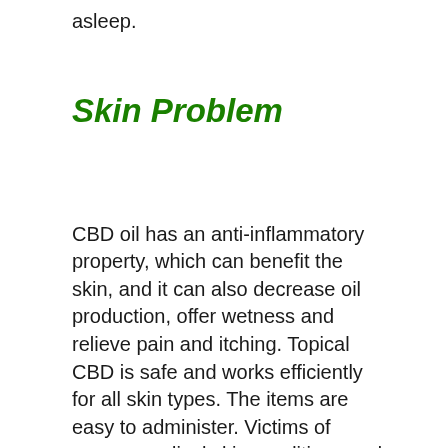asleep.
Skin Problem
CBD oil has an anti-inflammatory property, which can benefit the skin, and it can also decrease oil production, offer wetness and relieve pain and itching. Topical CBD is safe and works efficiently for all skin types. The items are easy to administer. Victims of severe medical skin conditions and those who are seeking ingenious skincare options